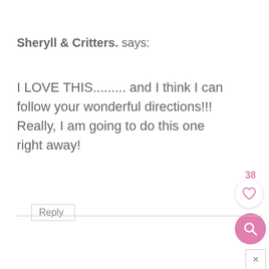Sheryll & Critters. says:
I LOVE THIS......... and I think I can follow your wonderful directions!!! Really, I am going to do this one right away!
Reply
38